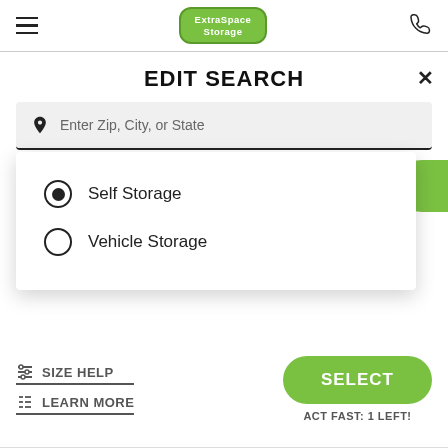Extra Space Storage — navigation header with hamburger menu and phone icon
EDIT SEARCH
Enter Zip, City, or State
Self Storage | Storage Size / Storage Size
Self Storage (selected)
Vehicle Storage
SIZE HELP
LEARN MORE
SELECT
ACT FAST: 1 LEFT!